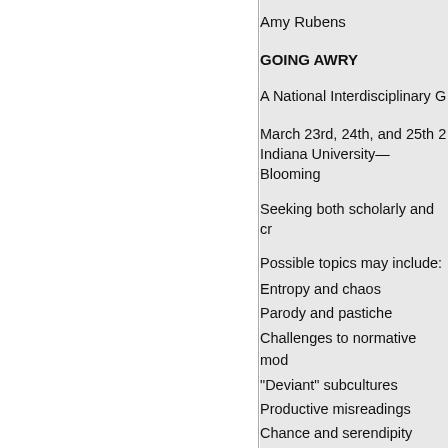Amy Rubens
GOING AWRY
A National Interdisciplinary G
March 23rd, 24th, and 25th 2
Indiana University—Blooming
Seeking both scholarly and cr
Possible topics may include:
Entropy and chaos
Parody and pastiche
Challenges to normative mod
"Deviant" subcultures
Productive misreadings
Chance and serendipity
Disaster and trauma
Irony